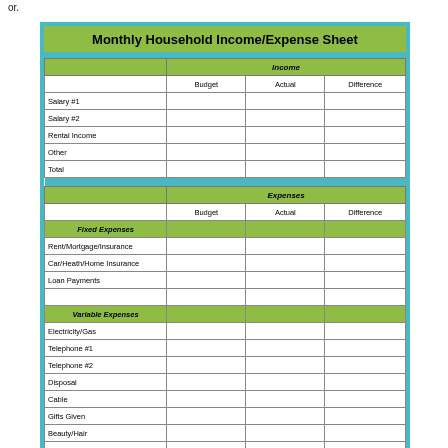or.
Monthly Household Income/Expense Sheet
|  | Budget | Actual | Difference |
| --- | --- | --- | --- |
| Income |  |  |  |
| Salary #1 |  |  |  |
| Salary #2 |  |  |  |
| Rental Income |  |  |  |
| Other |  |  |  |
| Total |  |  |  |
| Expenses |  |  |  |
|  | Budget | Actual | Difference |
| Fixed Expenses |  |  |  |
| Rent/Mortgage/Insurance |  |  |  |
| Car/Heath/Home Insurance |  |  |  |
| Loan Payments |  |  |  |
|  |  |  |  |
| Variable Expenses |  |  |  |
| Electricity/Gas |  |  |  |
| Telephone #1 |  |  |  |
| Telephone #2 |  |  |  |
| Disposal |  |  |  |
| Cable |  |  |  |
| Gifts Given |  |  |  |
| Beauty/Hair |  |  |  |
| Household Repairs |  |  |  |
| Health Expenses |  |  |  |
| Savings |  |  |  |
| Subscriptions |  |  |  |
| Travel/Vacation |  |  |  |
| Spending Cash/Allowance |  |  |  |
| Groceries |  |  |  |
| Clothing |  |  |  |
| Childcare |  |  |  |